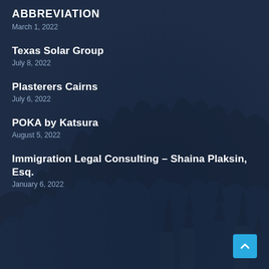ABBREVIATION
March 1, 2022
Texas Solar Group
July 8, 2022
Plasterers Cairns
July 6, 2022
POKA by Katsura
August 5, 2022
Immigration Legal Consulting – Shaina Plaksin, Esq.
January 6, 2022